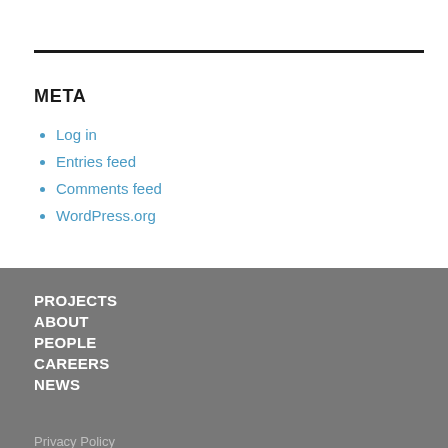META
Log in
Entries feed
Comments feed
WordPress.org
PROJECTS
ABOUT
PEOPLE
CAREERS
NEWS
Privacy Policy